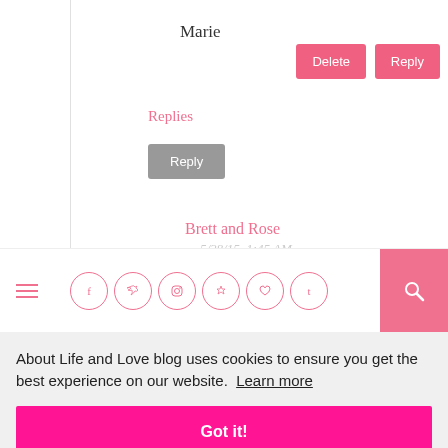Marie
Delete
Reply
Replies
Reply
Brett and Rose
5/28/15, 1:45 AM
[Figure (screenshot): Navigation bar with hamburger menu icon, social media icons (Facebook, Twitter, Instagram, Pinterest, Heart/Bloglovin, Tumblr) in pink circles, and a pink search button]
About Life and Love blog uses cookies to ensure you get the best experience on our website.  Learn more
Got it!
@ChristianRep